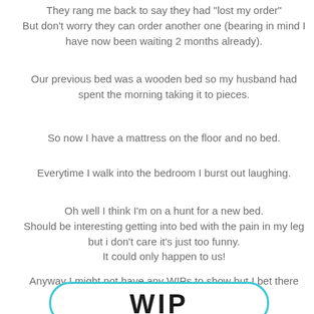They rang me back to say they had "lost my order" But don't worry they can order another one (bearing in mind I have now been waiting 2 months already).
Our previous bed was a wooden bed so my husband had spent the morning taking it to pieces.
So now I have a mattress on the floor and no bed.
Everytime I walk into the bedroom I burst out laughing.
Oh well I think I'm on a hunt for a new bed. Should be interesting getting into bed with the pain in my leg but i don't care it's just too funny. It could only happen to us!
Anyway I might not have any WIPs to show but I bet there are some other fantastic ones to check out:
[Figure (logo): A logo with the word 'WIP' in stylized text inside a rounded teal/cyan border]